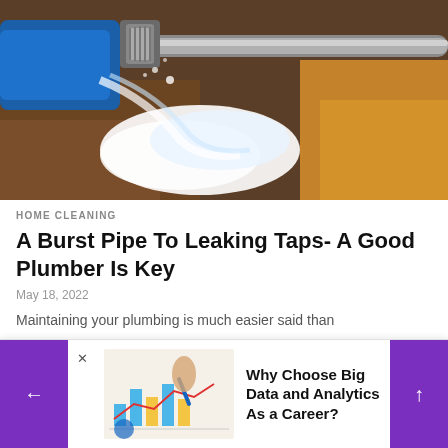[Figure (photo): Close-up photo of a burst pipe or water fitting with water spraying out, blue pipe visible, set against a background of soil and debris]
HOME CLEANING
A Burst Pipe To Leaking Taps- A Good Plumber Is Key
May 18, 2022
Maintaining your plumbing is much easier said than
[Figure (photo): Advertisement banner showing a hand pointing at a bar chart and line graph on paper. Text reads: Why Choose Big Data and Analytics As a Career?]